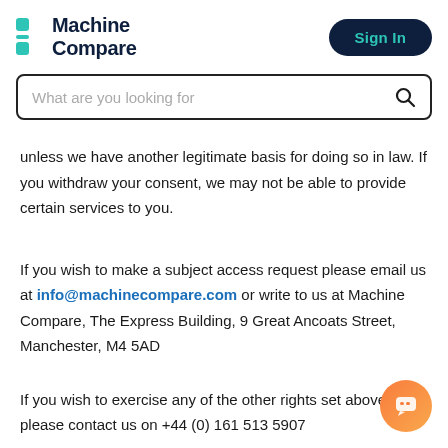Machine Compare | Sign In
unless we have another legitimate basis for doing so in law. If you withdraw your consent, we may not be able to provide certain services to you.
If you wish to make a subject access request please email us at info@machinecompare.com or write to us at Machine Compare, The Express Building, 9 Great Ancoats Street, Manchester, M4 5AD
If you wish to exercise any of the other rights set above, please contact us on +44 (0) 161 513 5907